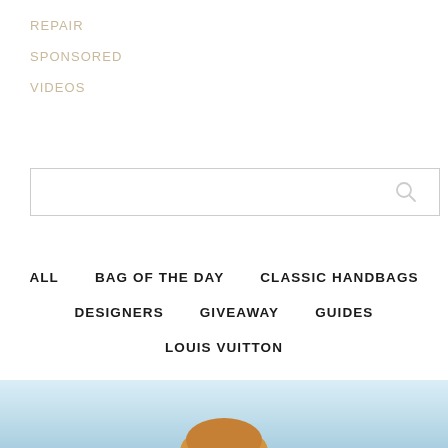REPAIR
SPONSORED
VIDEOS
Search box with search icon
ALL
BAG OF THE DAY
CLASSIC HANDBAGS
DESIGNERS
GIVEAWAY
GUIDES
LOUIS VUITTON
[Figure (photo): Bottom portion of a handbag against a light blue sky background]